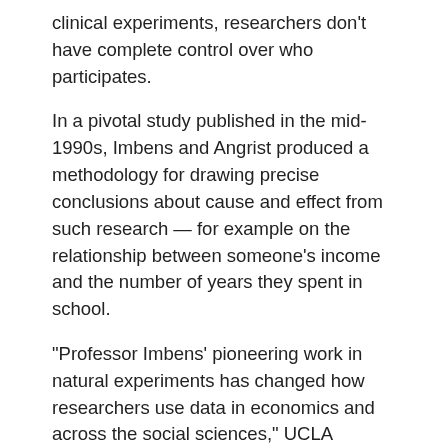clinical experiments, researchers don't have complete control over who participates.
In a pivotal study published in the mid-1990s, Imbens and Angrist produced a methodology for drawing precise conclusions about cause and effect from such research — for example on the relationship between someone's income and the number of years they spent in school.
“Professor Imbens’ pioneering work in natural experiments has changed how researchers use data in economics and across the social sciences,” UCLA Chancellor Gene Block said. “We’re exceedingly proud to have one of UCLA’s former faculty members recognized for such important work.”
Imbens is the applied econometrics professor and professor of economics at the Stanford Graduate School of Business, where he has been a member of the faculty